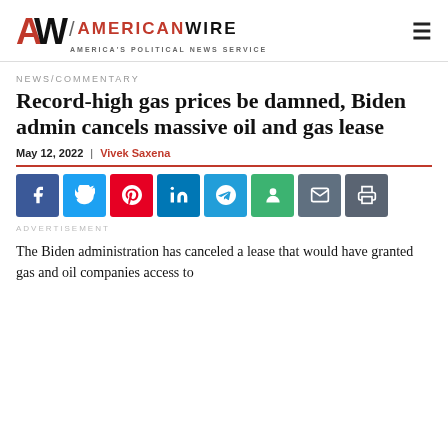[Figure (logo): American Wire logo with AW monogram and tagline AMERICA'S POLITICAL NEWS SERVICE]
NEWS/COMMENTARY
Record-high gas prices be damned, Biden admin cancels massive oil and gas lease
May 12, 2022  |  Vivek Saxena
[Figure (infographic): Social sharing buttons: Facebook, Twitter, Pinterest, LinkedIn, Telegram, Reddit, Email, Print]
ADVERTISEMENT
The Biden administration has canceled a lease that would have granted gas and oil companies access to